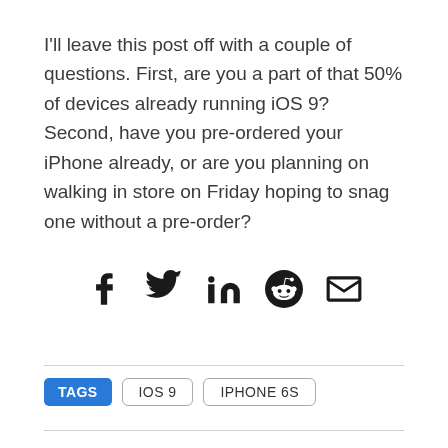I'll leave this post off with a couple of questions. First, are you a part of that 50% of devices already running iOS 9? Second, have you pre-ordered your iPhone already, or are you planning on walking in store on Friday hoping to snag one without a pre-order?
[Figure (infographic): Social sharing icons: Facebook, Twitter, LinkedIn, Reddit, Email (envelope)]
TAGS  IOS 9  IPHONE 6S